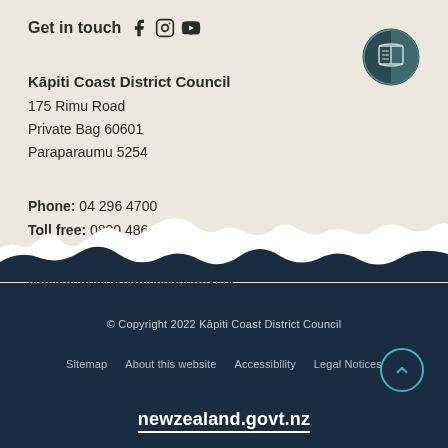Get in touch
[Figure (logo): Kāpiti Coast District Council circular logo with book/tablet icon on teal background]
Kāpiti Coast District Council
175 Rimu Road
Private Bag 60601
Paraparaumu 5254
Phone: 04 296 4700
Toll free: 0800 486 486
Fax: 04 296 4830
kapiti.council@kapiticoast.govt.nz
[Figure (illustration): Mountain silhouette divider between beige and dark navy sections]
© Copyright 2022 Kāpiti Coast District Council
Sitemap   About this website   Accessibility   Legal Notices
newzealand.govt.nz